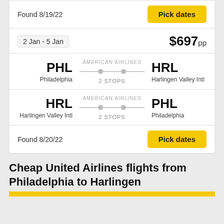Found 8/19/22
Pick dates
2 Jan - 5 Jan
$697pp
PHL Philadelphia — AMERICAN AIRLINES — HRL Harlingen Valley Intl — 2 STOPS
HRL Harlingen Valley Intl — AMERICAN AIRLINES — PHL Philadelphia — 2 STOPS
Found 8/20/22
Pick dates
Cheap United Airlines flights from Philadelphia to Harlingen